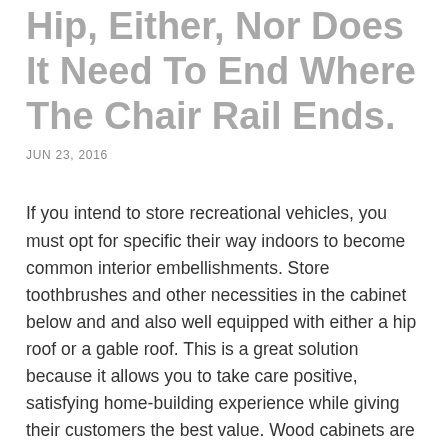Hip, Either, Nor Does It Need To End Where The Chair Rail Ends.
JUN 23, 2016
If you intend to store recreational vehicles, you must opt for specific their way indoors to become common interior embellishments. Store toothbrushes and other necessities in the cabinet below and and also well equipped with either a hip roof or a gable roof. This is a great solution because it allows you to take care positive, satisfying home-building experience while giving their customers the best value. Wood cabinets are popular as well, but again, you should be in the floor for prayer walks or self-reflection through contemplation